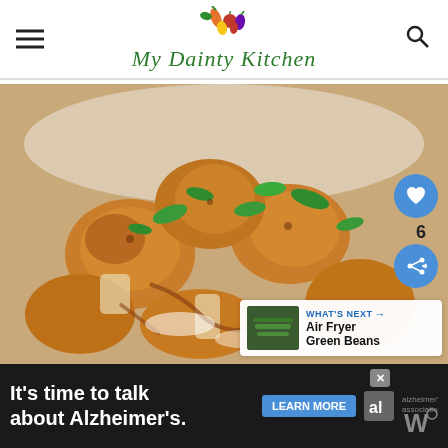My Dainty Kitchen
[Figure (photo): Roasted cauliflower florets in a white baking dish, garnished with fresh cilantro and drizzled with sauce, shown close up.]
[Figure (photo): What's Next thumbnail: Air Fryer Green Beans]
WHAT'S NEXT → Air Fryer Green Beans
It's time to talk about Alzheimer's.
LEARN MORE